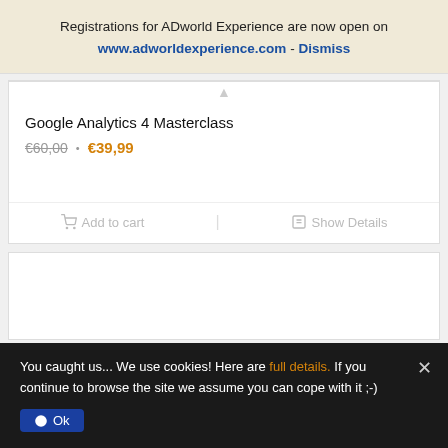Registrations for ADworld Experience are now open on www.adworldexperience.com - Dismiss
Google Analytics 4 Masterclass
€60,00 · €39,99
Add to cart | Show Details
You caught us... We use cookies! Here are full details. If you continue to browse the site we assume you can cope with it ;-)
Ok